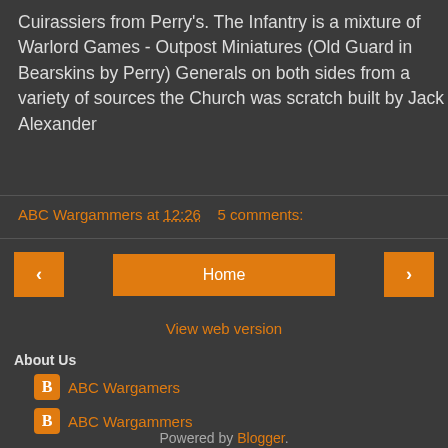Cuirassiers from Perry's. The Infantry is a mixture of Warlord Games - Outpost Miniatures (Old Guard in Bearskins by Perry) Generals on both sides from a variety of sources the Church was scratch built by Jack Alexander
ABC Wargammers at 12:26   5 comments:
[Figure (other): Navigation buttons: left arrow, Home button, right arrow]
View web version
About Us
ABC Wargamers
ABC Wargammers
Powered by Blogger.